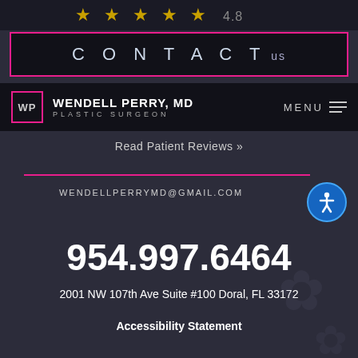[Figure (screenshot): Top strip with gold star ratings and 4.8 rating on dark background]
CONTACT us
[Figure (logo): WP Wendell Perry MD Plastic Surgeon logo with MENU icon on dark navbar]
Read Patient Reviews »
WENDELLPERRYMD@GMAIL.COM
954.997.6464
2001 NW 107th Ave Suite #100 Doral, FL 33172
Accessibility Statement